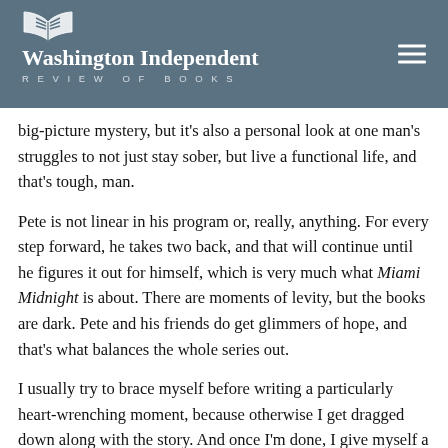Washington Independent REVIEW OF BOOKS
big-picture mystery, but it's also a personal look at one man's struggles to not just stay sober, but live a functional life, and that's tough, man.
Pete is not linear in his program or, really, anything. For every step forward, he takes two back, and that will continue until he figures it out for himself, which is very much what Miami Midnight is about. There are moments of levity, but the books are dark. Pete and his friends do get glimmers of hope, and that's what balances the whole series out.
I usually try to brace myself before writing a particularly heart-wrenching moment, because otherwise I get dragged down along with the story. And once I'm done, I give myself a day or two to recover.
In Blackout, there's a flashback where Pete discovers the remains of his high-school crush buried in her father's front yard. It's terrible. Dark. Really unforgiving. I think I had to put the book down for a week after that, just for my own sanity. But I also think those scenes